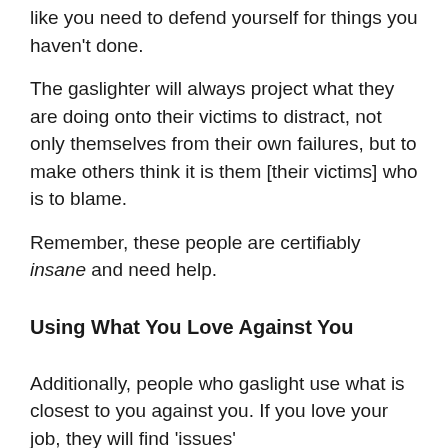like you need to defend yourself for things you haven't done.
The gaslighter will always project what they are doing onto their victims to distract, not only themselves from their own failures, but to make others think it is them [their victims] who is to blame.
Remember, these people are certifiably insane and need help.
Using What You Love Against You
Additionally, people who gaslight use what is closest to you against you. If you love your job, they will find 'issues'